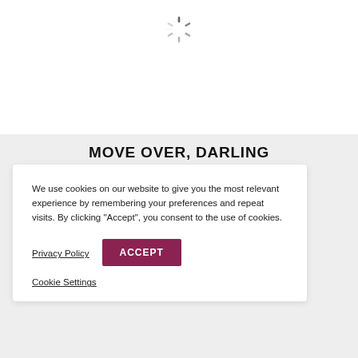[Figure (illustration): Loading spinner icon centered at top of page]
MOVE OVER, DARLING
We use cookies on our website to give you the most relevant experience by remembering your preferences and repeat visits. By clicking “Accept”, you consent to the use of cookies.
Privacy Policy   ACCEPT
Cookie Settings